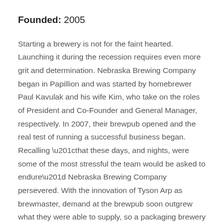Founded: 2005
Starting a brewery is not for the faint hearted. Launching it during the recession requires even more grit and determination. Nebraska Brewing Company began in Papillion and was started by homebrewer Paul Kavulak and his wife Kim, who take on the roles of President and Co-Founder and General Manager, respectively. In 2007, their brewpub opened and the real test of running a successful business began. Recalling “that these days, and nights, were some of the most stressful the team would be asked to endure” Nebraska Brewing Company persevered. With the innovation of Tyson Arp as brewmaster, demand at the brewpub soon outgrew what they were able to supply, so a packaging brewery and tap room was opened shortly, allowing the full scope of Nebraska Brewing...